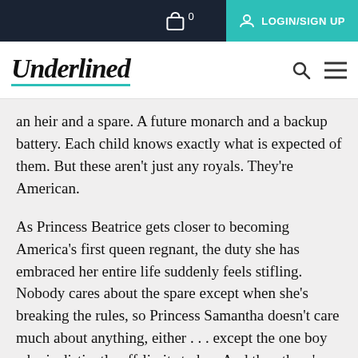LOGIN/SIGN UP | Cart: 0
[Figure (logo): Underlined logo with teal underline, search icon, and hamburger menu]
an heir and a spare. A future monarch and a backup battery. Each child knows exactly what is expected of them. But these aren't just any royals. They're American.
As Princess Beatrice gets closer to becoming America's first queen regnant, the duty she has embraced her entire life suddenly feels stifling. Nobody cares about the spare except when she's breaking the rules, so Princess Samantha doesn't care much about anything, either . . . except the one boy who is distinctly off-limits to her. And then there's Samantha's twin, Prince Jefferson. If he'd been born a generation earlier, he would have stood first in line for the throne, but the new laws of succession make him third. Most of America adores their devastatingly handsome prince . . . but two very different